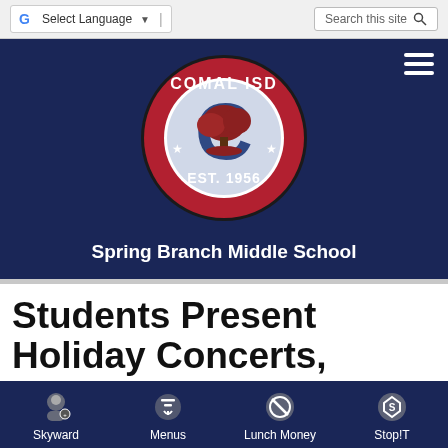[Figure (screenshot): Top navigation bar with Google Translate language selector and search bar]
[Figure (logo): Comal ISD circular logo with red border, blue C, tree illustration, stars, and EST. 1956 text]
Spring Branch Middle School
Students Present Holiday Concerts, Shows and More
[Figure (infographic): Bottom navigation bar with Skyward, Menus, Lunch Money, and Stop!T icons]